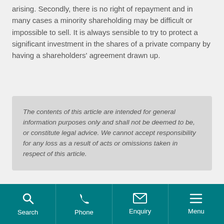arising. Secondly, there is no right of repayment and in many cases a minority shareholding may be difficult or impossible to sell. It is always sensible to try to protect a significant investment in the shares of a private company by having a shareholders' agreement drawn up.
The contents of this article are intended for general information purposes only and shall not be deemed to be, or constitute legal advice. We cannot accept responsibility for any loss as a result of acts or omissions taken in respect of this article.
Search | Phone | Enquiry | Menu